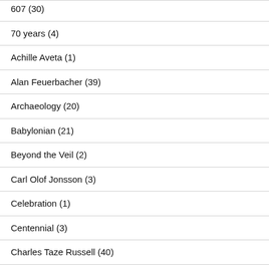607 (30)
70 years (4)
Achille Aveta (1)
Alan Feuerbacher (39)
Archaeology (20)
Babylonian (21)
Beyond the Veil (2)
Carl Olof Jonsson (3)
Celebration (1)
Centennial (3)
Charles Taze Russell (40)
Daniel 4 (6)
David Splane (1)